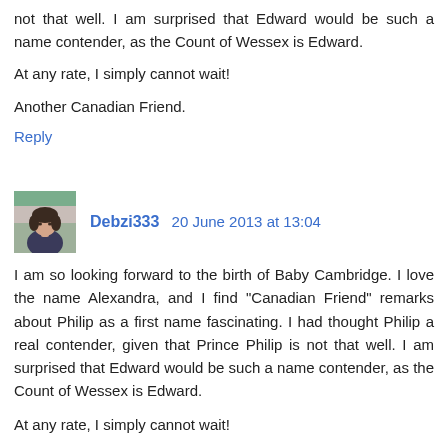not that well. I am surprised that Edward would be such a name contender, as the Count of Wessex is Edward.
At any rate, I simply cannot wait!
Another Canadian Friend.
Reply
Debzi333 20 June 2013 at 13:04
I am so looking forward to the birth of Baby Cambridge. I love the name Alexandra, and I find "Canadian Friend" remarks about Philip as a first name fascinating. I had thought Philip a real contender, given that Prince Philip is not that well. I am surprised that Edward would be such a name contender, as the Count of Wessex is Edward.
At any rate, I simply cannot wait!
Another Canadian Friend.
Reply